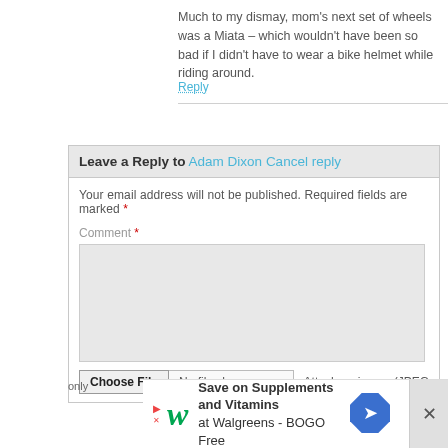Much to my dismay, mom's next set of wheels was a Miata – which wouldn't have been so bad if I didn't have to wear a bike helmet while riding around.
Reply
Leave a Reply to Adam Dixon Cancel reply
Your email address will not be published. Required fields are marked *
Comment *
Choose File  No file chosen  Attach an image (JPEG
[Figure (screenshot): Walgreens advertisement banner: Save on Supplements and Vitamins at Walgreens - BOGO Free, with Walgreens logo and blue diamond icon with arrow]